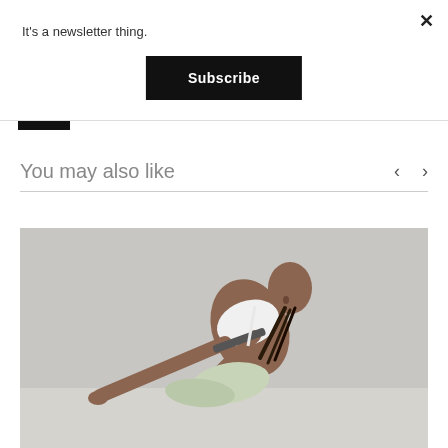It's a newsletter thing.
Subscribe
You may also like
[Figure (photo): Woman in white sports bra and light shorts stretching/reaching forward in a yoga or athletic pose against a light grey background]